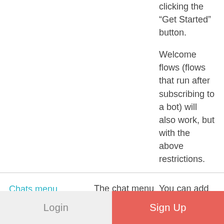clicking the “Get Started” button.

Welcome flows (flows that run after subscribing to a bot) will also work, but with the above restrictions.
Chats menu
The chat menu (persistent menu with links to launch various flows)
You can add the keyword “menu” to launch a trigger flow with information about your company.
Login  Sign Up